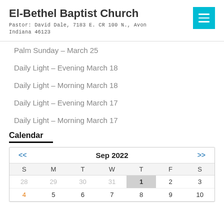El-Bethel Baptist Church
Pastor: David Dale, 7183 E. CR 100 N., Avon Indiana 46123
Palm Sunday – March 25
Daily Light – Evening March 18
Daily Light – Morning March 18
Daily Light – Evening March 17
Daily Light – Morning March 17
Calendar
| S | M | T | W | T | F | S |
| --- | --- | --- | --- | --- | --- | --- |
| 28 | 29 | 30 | 31 | 1 | 2 | 3 |
| 4 | 5 | 6 | 7 | 8 | 9 | 10 |